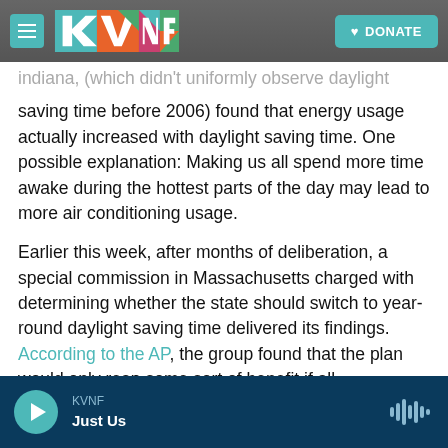KVNF [logo] | DONATE
indiana, (which didn't uniformly observe daylight saving time before 2006) found that energy usage actually increased with daylight saving time. One possible explanation: Making us all spend more time awake during the hottest parts of the day may lead to more air conditioning usage.
Earlier this week, after months of deliberation, a special commission in Massachusetts charged with determining whether the state should switch to year-round daylight saving time delivered its findings. According to the AP, the group found that the plan would only reap some sort of benefit if all of the "Northeast" joined in. "If we don't have New...
KVNF | Just Us [audio player]